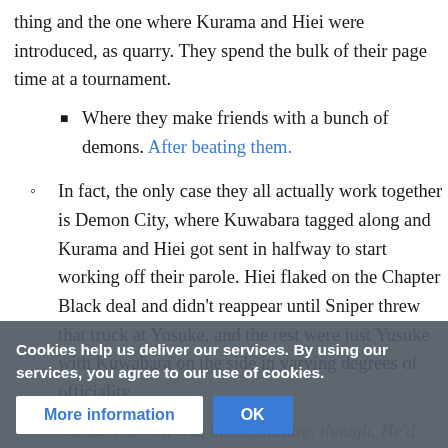thing and the one where Kurama and Hiei were introduced, as quarry. They spend the bulk of their page time at a tournament.
Where they make friends with a bunch of demons. After beating them.
In fact, the only case they all actually work together is Demon City, where Kuwabara tagged along and Kurama and Hiei got sent in halfway to start working off their parole. Hiei flaked on the Chapter Black deal and didn't reappear until Sniper threw that truck at Yusuke, and the rest were just Yusuke with Kuwabara on the side in varying degrees of officiality.
Shinobu Sensui was this by nature, though. He'd been killing demons in self-defense since he was a very sm... g... n some
Cookies help us deliver our services. By using our services, you agree to our use of cookies.